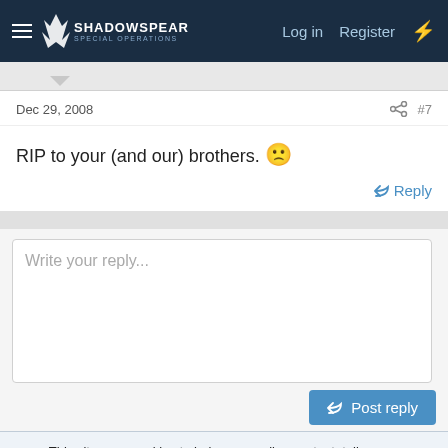ShadowSpear Special Operations — Log in | Register
Dec 29, 2008   #7
RIP to your (and our) brothers. 😕
Reply
Write your reply...
Post reply
This site uses cookies to help personalise content, tailor your experience and to keep you logged in if you register.
By continuing to use this site, you are consenting to our use of cookies.
Accept | Learn more...